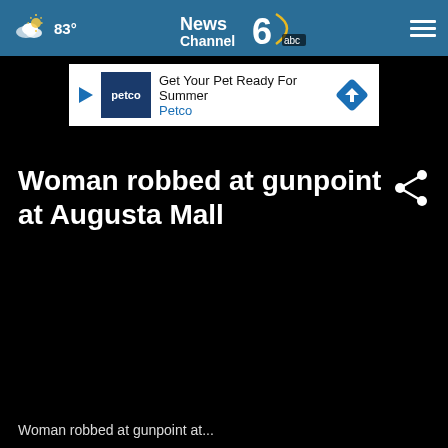83° — News Channel 6 ABC WJBF.COM
[Figure (screenshot): Petco advertisement banner: 'Get Your Pet Ready For Summer — Petco']
Woman robbed at gunpoint at Augusta Mall
Woman robbed at gunpoint at...